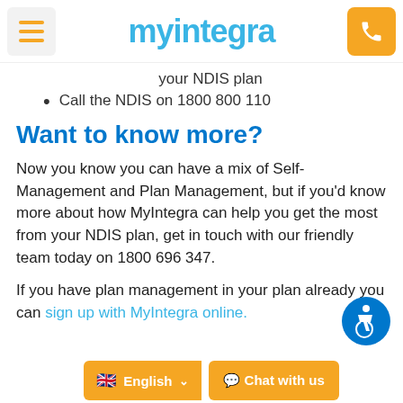myintegra
your NDIS plan
Call the NDIS on 1800 800 110
Want to know more?
Now you know you can have a mix of Self-Management and Plan Management, but if you'd know more about how MyIntegra can help you get the most from your NDIS plan, get in touch with our friendly team today on 1800 696 347.
If you have plan management in your plan already you can sign up with MyIntegra online.
English   Chat with us